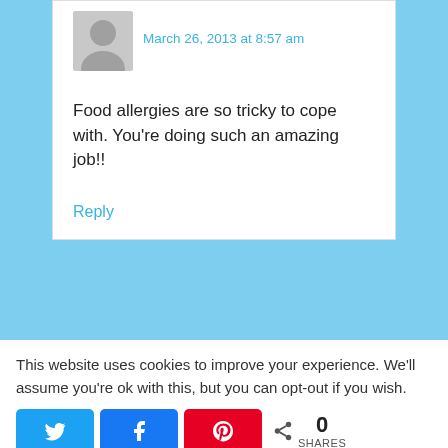March 26, 2013 at 8:57 am
Food allergies are so tricky to cope with. You’re doing such an amazing job!!
Reply
This website uses cookies to improve your experience. We'll assume you're ok with this, but you can opt-out if you wish.
0 SHARES